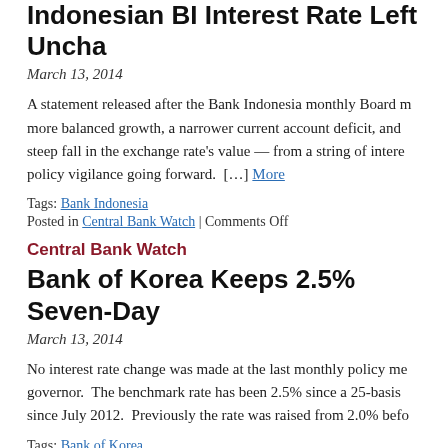Indonesian BI Interest Rate Left Uncha…
March 13, 2014
A statement released after the Bank Indonesia monthly Board m… more balanced growth, a narrower current account deficit, and … steep fall in the exchange rate's value — from a string of intere… policy vigilance going forward.  […] More
Tags: Bank Indonesia
Posted in Central Bank Watch | Comments Off
Central Bank Watch
Bank of Korea Keeps 2.5% Seven-Day…
March 13, 2014
No interest rate change was made at the last monthly policy me… governor.  The benchmark rate has been 2.5% since a 25-basis … since July 2012.  Previously the rate was raised from 2.0% befo…
Tags: Bank of Korea
Posted in Central Bank Watch | Comments Off
New Overnight Developments Abroad - Daily Upd…